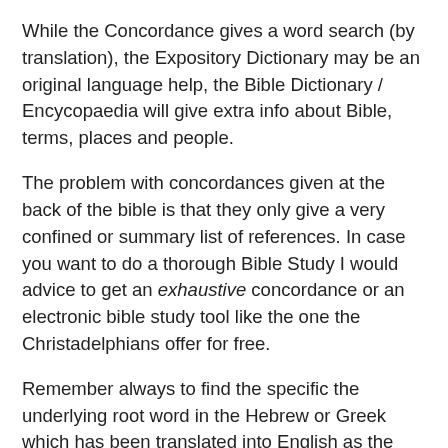While the Concordance gives a word search (by translation), the Expository Dictionary may be an original language help, the Bible Dictionary / Encycopaedia will give extra info about Bible, terms, places and people.
The problem with concordances given at the back of the bible is that they only give a very confined or summary list of references. In case you want to do a thorough Bible Study I would advice to get an exhaustive concordance or an electronic bible study tool like the one the Christadelphians offer for free.
Remember always to find the specific the underlying root word in the Hebrew or Greek which has been translated into English as the word, which you can recognise at the number, and compare those verses with the same word number.